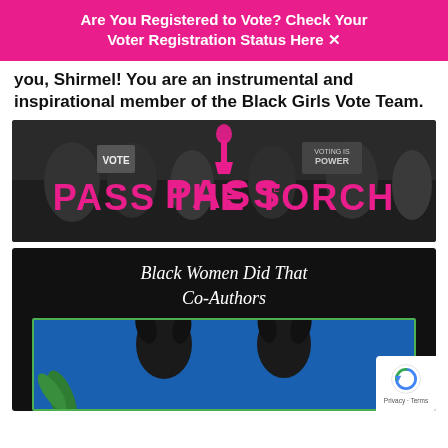Are You Registered to Vote? Check Your Voter Registration Status Here
you, Shirmel! You are an instrumental and inspirational member of the Black Girls Vote Team.
[Figure (photo): Pass The Torch banner image with people holding signs saying VOTE in the background, with pink text overlay reading PASS THE TORCH]
[Figure (photo): Black Women Did That Co-Authors title card with two women photographed against a blue background with green border]